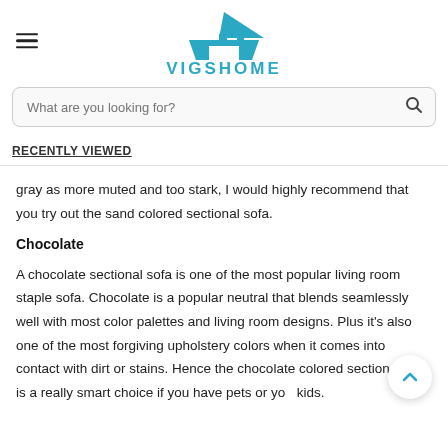[Figure (logo): VIGSHOME logo with a house/roof icon above the text VIGSHOME in teal/blue color]
What are you looking for?
RECENTLY VIEWED
gray as more muted and too stark, I would highly recommend that you try out the sand colored sectional sofa.
Chocolate
A chocolate sectional sofa is one of the most popular living room staple sofa. Chocolate is a popular neutral that blends seamlessly well with most color palettes and living room designs. Plus it's also one of the most forgiving upholstery colors when it comes into contact with dirt or stains. Hence the chocolate colored sectional sofa is a really smart choice if you have pets or you kids.